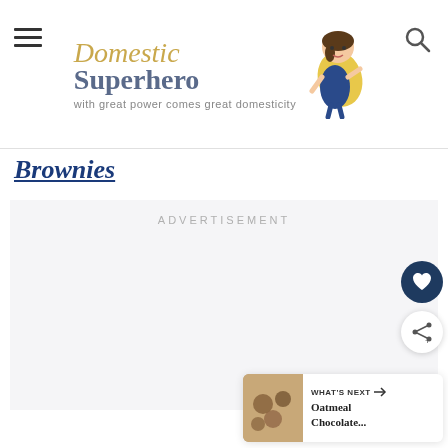Domestic Superhero — with great power comes great domesticity
Brownies
ADVERTISEMENT
WHAT'S NEXT → Oatmeal Chocolate...